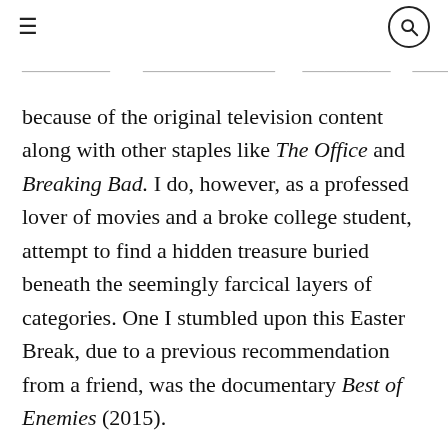≡  🔍
because of the original television content along with other staples like The Office and Breaking Bad. I do, however, as a professed lover of movies and a broke college student, attempt to find a hidden treasure buried beneath the seemingly farcical layers of categories. One I stumbled upon this Easter Break, due to a previous recommendation from a friend, was the documentary Best of Enemies (2015).
The film takes an in-depth look at the series of 10 debates between William F. Buckley Jr., a